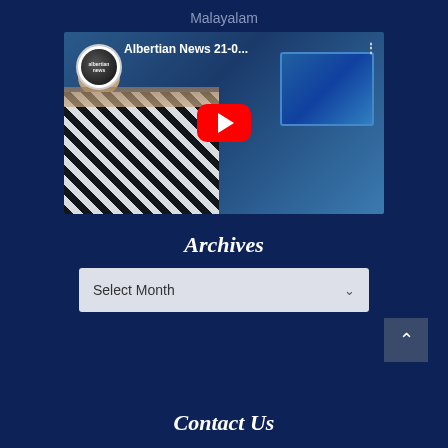Malayalam
[Figure (screenshot): YouTube video thumbnail for 'Albertian News 21-0...' showing a news anchor in checkered shirt with a YouTube play button overlay, Albertian News circular logo, and a TV monitor in background]
Archives
Select Month
Contact Us